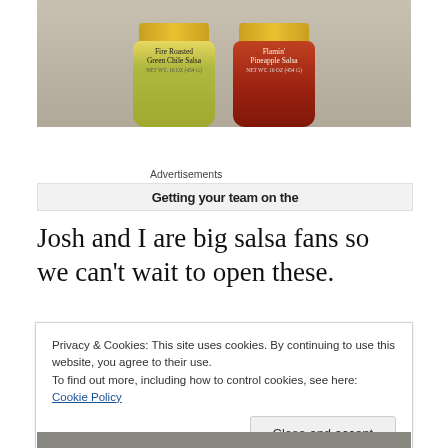[Figure (photo): Two jars of salsa on a gray surface: 'Fire Roasted Green Chile Salsa' (green jar) and 'Flamin' Pineapple Salsa' (red/brown jar), both with yellow labels on top.]
Advertisements
[Figure (screenshot): Advertisement banner showing text 'Getting your team on the']
Josh and I are big salsa fans so we can't wait to open these.
Privacy & Cookies: This site uses cookies. By continuing to use this website, you agree to their use.
To find out more, including how to control cookies, see here: Cookie Policy
Close and accept
[Figure (photo): Partial photo visible at bottom of page, appears to be a decorative or food-related image.]